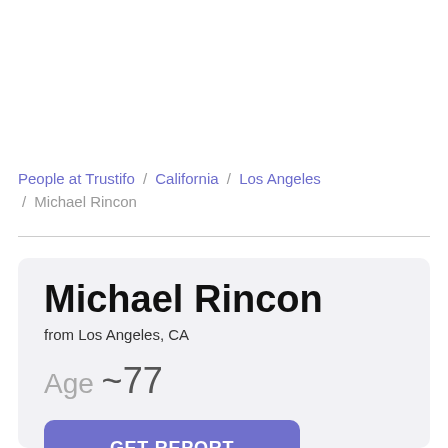People at Trustifo / California / Los Angeles / Michael Rincon
Michael Rincon
from Los Angeles, CA
Age ~77
GET REPORT